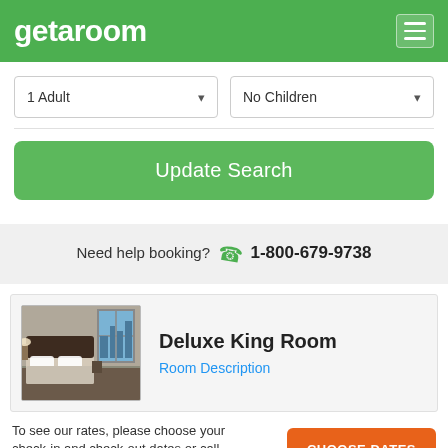getaroom
1 Adult
No Children
Update Search
Need help booking? 1-800-679-9738
Deluxe King Room
Room Description
[Figure (photo): Hotel room with king bed, dark headboard, city view window]
To see our rates, please choose your check-in and check-out dates or call us 1-800-679-9738
CHOOSE DATES